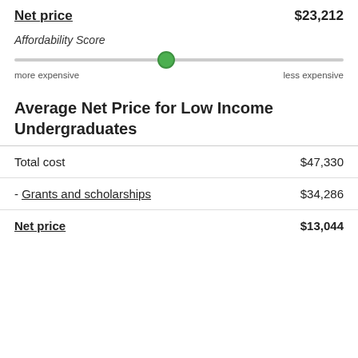Net price  $23,212
[Figure (infographic): Affordability Score slider with green dot positioned slightly left of center, labeled 'more expensive' on left and 'less expensive' on right]
Average Net Price for Low Income Undergraduates
| Total cost | $47,330 |
| - Grants and scholarships | $34,286 |
| Net price | $13,044 |